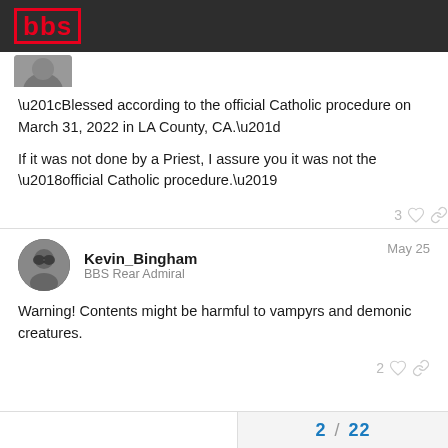bbs
[Figure (photo): Partial avatar image at top left, partially cropped]
“Blessed according to the official Catholic procedure on March 31, 2022 in LA County, CA.”

If it was not done by a Priest, I assure you it was not the ‘official Catholic procedure.’
3 ♡ 🔗
Kevin_Bingham   May 25
BBS Rear Admiral
Warning! Contents might be harmful to vampyrs and demonic creatures.
2 ♡ 🔗
2 / 22